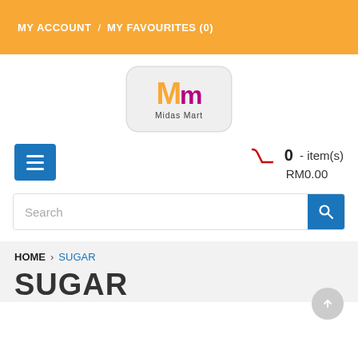MY ACCOUNT / MY FAVOURITES (0)
[Figure (logo): Midas Mart logo: orange M and pink m letters with 'Midas Mart' text below, on rounded rectangle background]
0 - item(s)
RM0.00
Search
HOME > SUGAR
SUGAR